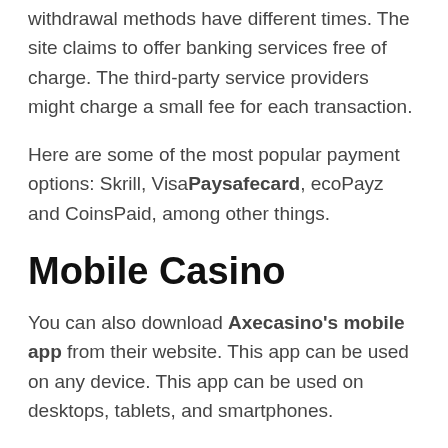withdrawal methods have different times. The site claims to offer banking services free of charge. The third-party service providers might charge a small fee for each transaction.
Here are some of the most popular payment options: Skrill, VisaPaysafecard, ecoPayz and CoinsPaid, among other things.
Mobile Casino
You can also download Axecasino's mobile app from their website. This app can be used on any device. This app can be used on desktops, tablets, and smartphones.
After downloading, log in to your casino account and start betting. The mobile interface works well on all devices and is well-designed. It allows you to access all